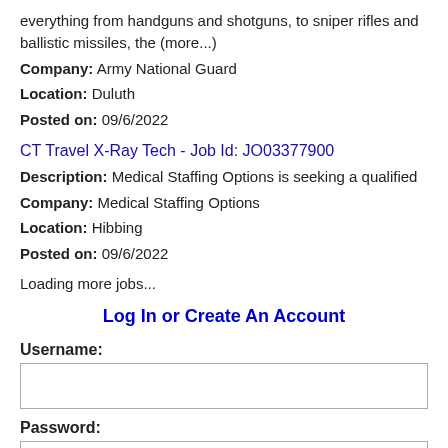everything from handguns and shotguns, to sniper rifles and ballistic missiles, the (more...)
Company: Army National Guard
Location: Duluth
Posted on: 09/6/2022
CT Travel X-Ray Tech - Job Id: JO03377900
Description: Medical Staffing Options is seeking a qualified
Company: Medical Staffing Options
Location: Hibbing
Posted on: 09/6/2022
Loading more jobs...
Log In or Create An Account
Username:
Password: